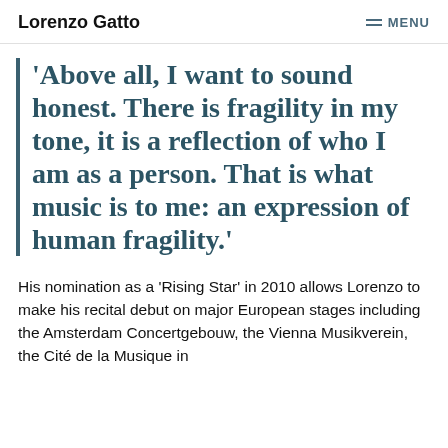Lorenzo Gatto | MENU
'Above all, I want to sound honest. There is fragility in my tone, it is a reflection of who I am as a person. That is what music is to me: an expression of human fragility.'
His nomination as a 'Rising Star' in 2010 allows Lorenzo to make his recital debut on major European stages including the Amsterdam Concertgebouw, the Vienna Musikverein, the Cité de la Musique in